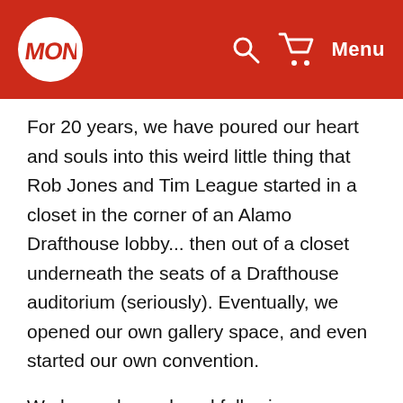Mondo — Menu
For 20 years, we have poured our heart and souls into this weird little thing that Rob Jones and Tim League started in a closet in the corner of an Alamo Drafthouse lobby... then out of a closet underneath the seats of a Drafthouse auditorium (seriously). Eventually, we opened our own gallery space, and even started our own convention.
We have always loved following our passions and doing things our own way, and we'll be forever thankful to the Alamo Drafthouse for supporting those passions and helping us grow into what we are today. But we needed a bigger boat... and that's where Funko comes in. They understand what Mondo is today and are eager to help us